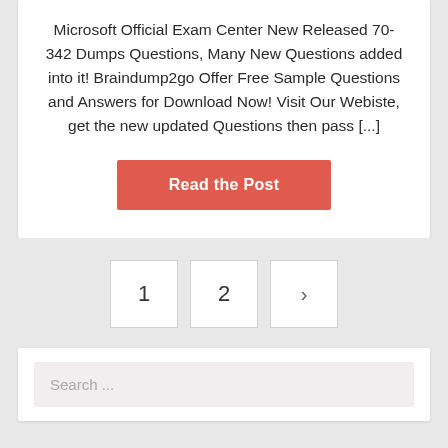Microsoft Official Exam Center New Released 70-342 Dumps Questions, Many New Questions added into it! Braindump2go Offer Free Sample Questions and Answers for Download Now! Visit Our Webiste, get the new updated Questions then pass [...]
Read the Post
1  2  >
Search ...